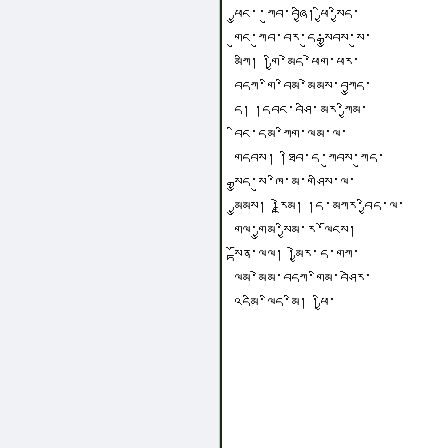ཕྱུང་་ཀུབ་བཞྱི། ཕྱི་སྱིད་ གུང་ཀུབ་བར་དུ་སྒྱུབས་སུ་མཀི། །གྱི་མེད་ཕེག་ཕར་བདཀ་གི་བིམ་མེམས་བཀྱུད་ད། །དབང་བཤི་མར་ཀྱིམ་བིང་དམ་ཀིག་ལམ་ལ་གདབས། །ཐིབ་ད་ཀུབས་ཀུད་སྒྱུད་སུ་ཁི་མ་གཤིས་ལ་མྱུམས། །རྗེམ། །ད་མཀར་བྱིད་ལ་གལ་གྱུམ་སྱིམ་ར་ལོངས། སྟོན་ལལ། །མྱེར་ད་གཀ་ལམ་མེམ་བདཀ་གིམ་བཤེར་འདམི་ལིད་མི།